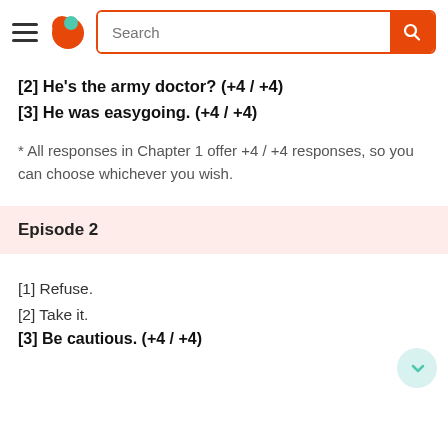[Figure (screenshot): Navigation header bar with hamburger menu, orange/teal logo icon, search bar with orange border and orange search button]
[2] He's the army doctor? (+4 / +4)
[3] He was easygoing. (+4 / +4)
* All responses in Chapter 1 offer +4 / +4 responses, so you can choose whichever you wish.
Episode 2
[1] Refuse.
[2] Take it.
[3] Be cautious. (+4 / +4)